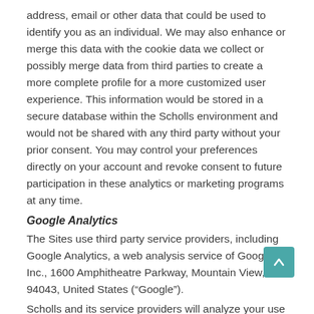address, email or other data that could be used to identify you as an individual. We may also enhance or merge this data with the cookie data we collect or possibly merge data from third parties to create a more complete profile for a more customized user experience. This information would be stored in a secure database within the Scholls environment and would not be shared with any third party without your prior consent. You may control your preferences directly on your account and revoke consent to future participation in these analytics or marketing programs at any time.
Google Analytics
The Sites use third party service providers, including Google Analytics, a web analysis service of Google Inc., 1600 Amphitheatre Parkway, Mountain View, CA 94043, United States (“Google”).
Scholls and its service providers will analyze your use